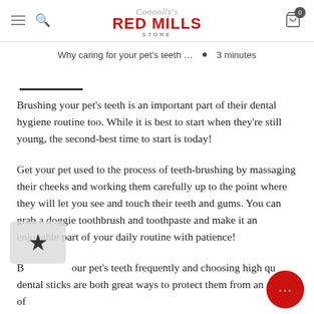Connolly's RED MILLS STORE
Why caring for your pet's teeth … ■ 3 minutes
Brushing your pet's teeth is an important part of their dental hygiene routine too. While it is best to start when they're still young, the second-best time to start is today!
Get your pet used to the process of teeth-brushing by massaging their cheeks and working them carefully up to the point where they will let you see and touch their teeth and gums. You can grab a doggie toothbrush and toothpaste and make it an enjoyable part of your daily routine with patience!
Brushing your pet's teeth frequently and choosing high quality dental sticks are both great ways to protect them from an array of health problems later on in their lives – now that's news to keep you